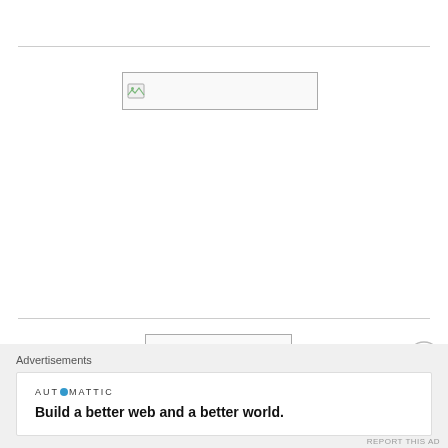[Figure (photo): Partial top image strip showing reddish/pink tones, cropped at top of page]
[Figure (other): Broken image placeholder (top) — a failed-to-load image shown as bordered rectangle with broken image icon]
[Figure (other): Broken image placeholder (bottom) — a failed-to-load image shown as bordered rectangle with broken image icon]
[Figure (other): Close/dismiss button (X in circle) at right side]
Advertisements
AUTOMATTIC
Build a better web and a better world.
REPORT THIS AD